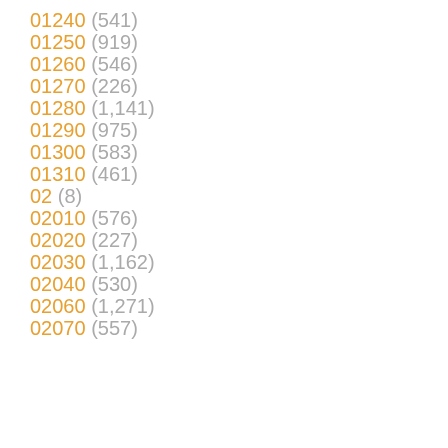01240 (541)
01250 (919)
01260 (546)
01270 (226)
01280 (1,141)
01290 (975)
01300 (583)
01310 (461)
02 (8)
02010 (576)
02020 (227)
02030 (1,162)
02040 (530)
02060 (1,271)
02070 (557)